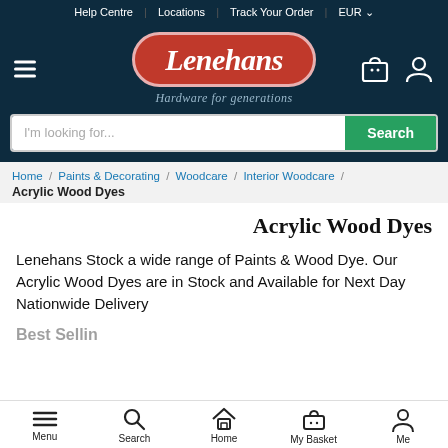Help Centre | Locations | Track Your Order | EUR
[Figure (logo): Lenehans Hardware for generations logo - red rounded badge with white italic text on dark navy background]
I'm looking for... Search
Home / Paints & Decorating / Woodcare / Interior Woodcare / Acrylic Wood Dyes
Acrylic Wood Dyes
Lenehans Stock a wide range of Paints & Wood Dye. Our Acrylic Wood Dyes are in Stock and Available for Next Day Nationwide Delivery
Best Selling
Menu | Search | Home | My Basket | Me